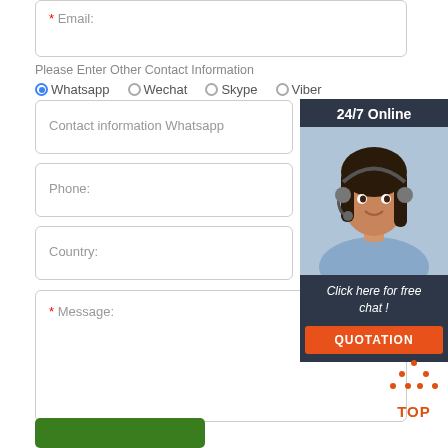* Email:
Please Enter Other Contact Information
Whatsapp (selected), Wechat, Skype, Viber
Contact information Whatsapp
Phone:
Country:
[Figure (photo): Customer support widget showing a woman with headset, 24/7 Online label, Click here for free chat! text, and QUOTATION button]
* Message:
[Figure (other): TOP back-to-top button with dotted triangle and orange text]